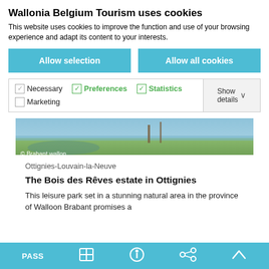Wallonia Belgium Tourism uses cookies
This website uses cookies to improve the function and use of your browsing experience and adapt its content to your interests.
Allow selection
Allow all cookies
Necessary  Preferences  Statistics  Marketing  Show details
[Figure (photo): Outdoor lake/pond landscape with green grass and trees, Brabant wallon watermark]
Ottignies-Louvain-la-Neuve
The Bois des Rêves estate in Ottignies
This leisure park set in a stunning natural area in the province of Walloon Brabant promises a
PASS